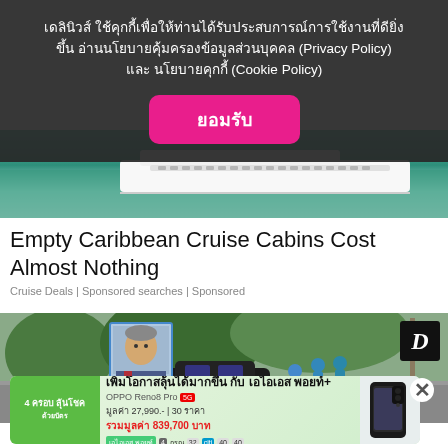[Figure (screenshot): Cruise ship aerial photo background under cookie consent overlay]
เดลินิวส์ ใช้คุกกี้เพื่อให้ท่านได้รับประสบการณ์การใช้งานที่ดียิ่งขึ้น อ่านนโยบายคุ้มครองข้อมูลส่วนบุคคล (Privacy Policy) และ นโยบายคุกกี้ (Cookie Policy)
ยอมรับ
Empty Caribbean Cruise Cabins Cost Almost Nothing
Cruise Deals | Sponsored searches | Sponsored
[Figure (photo): Thai news photo showing a car accident scene with an official portrait inset and a D logo]
[Figure (screenshot): Advertisement for AIS POYTH+ with OPPO Reno8 Pro phone promotion, price 27,990 baht, accumulated value 839,700 baht]